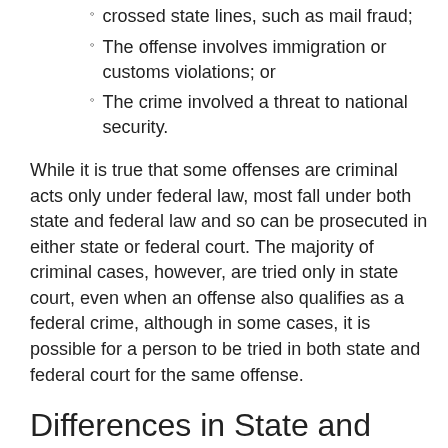crossed state lines, such as mail fraud;
The offense involves immigration or customs violations; or
The crime involved a threat to national security.
While it is true that some offenses are criminal acts only under federal law, most fall under both state and federal law and so can be prosecuted in either state or federal court. The majority of criminal cases, however, are tried only in state court, even when an offense also qualifies as a federal crime, although in some cases, it is possible for a person to be tried in both state and federal court for the same offense.
Differences in State and Federal Procedure
There are a variety of differences in state and federal criminal prosecutions. For instance, federal crimes are prosecuted by the U.S. Attorney's Office and investigated by federal officers, while state crimes are investigated by state agents, local police officers, or county sheriffs and